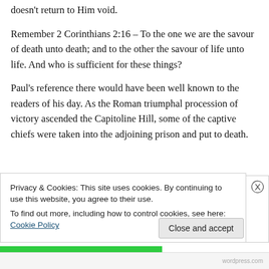doesn't return to Him void.
Remember 2 Corinthians 2:16 – To the one we are the savour of death unto death; and to the other the savour of life unto life. And who is sufficient for these things?
Paul's reference there would have been well known to the readers of his day. As the Roman triumphal procession of victory ascended the Capitoline Hill, some of the captive chiefs were taken into the adjoining prison and put to death.
Privacy & Cookies: This site uses cookies. By continuing to use this website, you agree to their use.
To find out more, including how to control cookies, see here: Cookie Policy